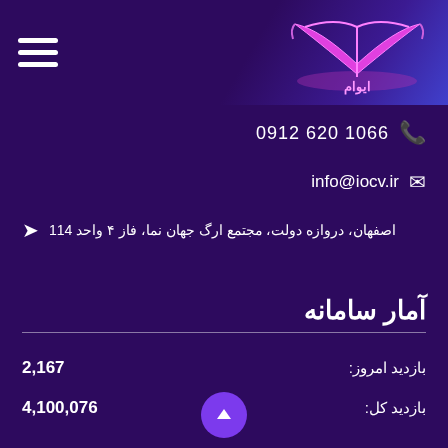[Figure (logo): Pink/magenta stylized logo with book and Arabic/Persian script on dark purple background]
0912 620 1066
info@iocv.ir
اصفهان، دروازه دولت، مجتمع ارگ جهان نما، فاز ۴ واحد 114
آمار سامانه
بازدید امروز: 2,167
بازدید کل: 4,100,076